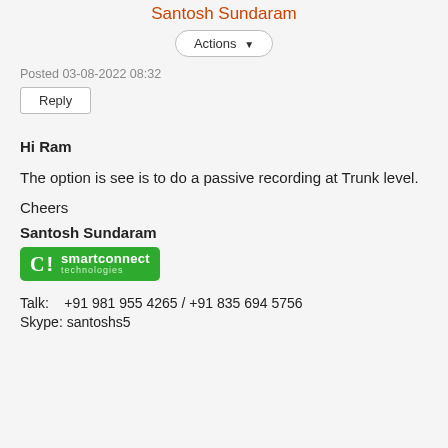Santosh Sundaram
Actions
Posted 03-08-2022 08:32
Reply
Hi Ram
The option is see is to do a passive recording at Trunk level.
Cheers
Santosh Sundaram
[Figure (logo): smartconnect technologies logo — white C! mark on green background]
Talk:    +91 981 955 4265 / +91 835 694 5756
Skype: santoshs5